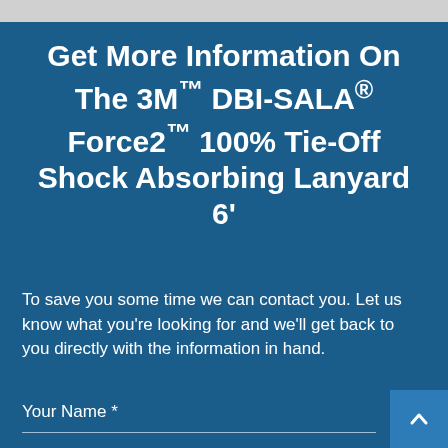Get More Information On The 3M™ DBI-SALA® Force2™ 100% Tie-Off Shock Absorbing Lanyard 6'
To save you some time we can contact you. Let us know what you're looking for and we'll get back to you directly with the information in hand.
Your Name *